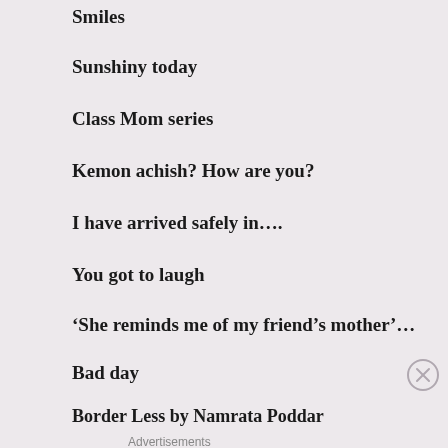Smiles
Sunshiny today
Class Mom series
Kemon achish? How are you?
I have arrived safely in….
You got to laugh
‘She reminds me of my friend’s mother’…
Bad day
Border Less by Namrata Poddar
Advertisements